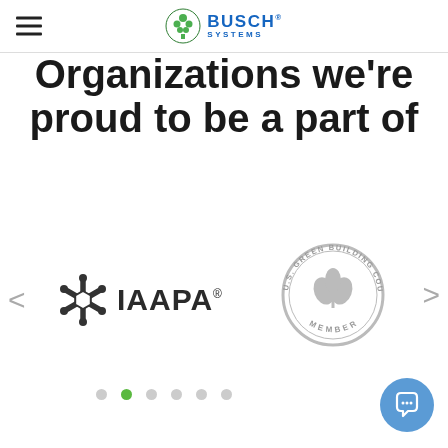Busch Systems
Organizations we're proud to be a part of
[Figure (logo): IAAPA logo - stylized snowflake/asterisk icon followed by IAAPA text with registered trademark symbol]
[Figure (logo): U.S. Green Building Council Member circular badge/seal logo in grey]
< >
Carousel dot navigation indicators - 6 dots, second one active (green)